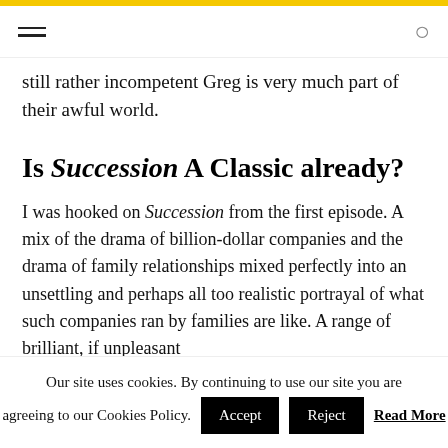Navigation bar with hamburger menu and search icon
still rather incompetent Greg is very much part of their awful world.
Is Succession A Classic already?
I was hooked on Succession from the first episode. A mix of the drama of billion-dollar companies and the drama of family relationships mixed perfectly into an unsettling and perhaps all too realistic portrayal of what such companies ran by families are like. A range of brilliant, if unpleasant
Our site uses cookies. By continuing to use our site you are agreeing to our Cookies Policy. Accept Reject Read More